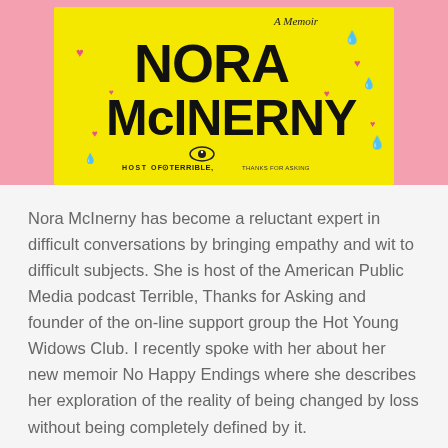[Figure (photo): Book cover of 'No Happy Endings: A Memoir' by Nora McInerny on a pink background. The cover is bright yellow with bold black text reading 'NORA McINERNY', decorated with pink hearts and blue teardrops, and text reading 'HOST OF TERRIBLE, THANKS FOR ASKING'.]
Nora McInerny has become a reluctant expert in difficult conversations by bringing empathy and wit to difficult subjects.  She is host of the American Public Media podcast Terrible, Thanks for Asking and founder of the on-line support group the Hot Young Widows Club.  I recently spoke with her about her new memoir No Happy Endings where she describes her exploration of the reality of being changed by loss without being completely defined by it.
Within the span of a few months, Nora lost her husband to brain cancer, miscarried her second child, and saw the passing of her father.  Not long after those tragic events